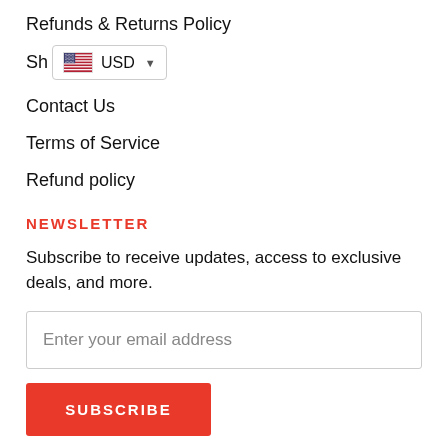Refunds & Returns Policy
Sh USD
Contact Us
Terms of Service
Refund policy
NEWSLETTER
Subscribe to receive updates, access to exclusive deals, and more.
Enter your email address
SUBSCRIBE